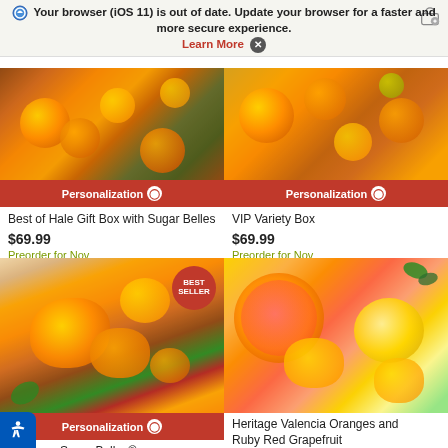Your browser (iOS 11) is out of date. Update your browser for a faster and more secure experience. Learn More ✕
[Figure (photo): Photo of Best of Hale Gift Box with Sugar Belles — oranges and fruit gift box with greenery]
Personalization
Best of Hale Gift Box with Sugar Belles
$69.99
Preorder for Nov
★★★★★
[Figure (photo): Photo of VIP Variety Box — assorted citrus fruit gift box]
Personalization
VIP Variety Box
$69.99
Preorder for Nov
★★★★½
[Figure (photo): Photo of Hale Groves Sugar Belles with Best Seller badge — peeled mandarins on a wooden board with holiday greenery]
Personalization
e Groves Sugar Belles®
[Figure (photo): Photo of Heritage Valencia Oranges and Ruby Red Grapefruit — halved citrus fruits]
Heritage Valencia Oranges and Ruby Red Grapefruit